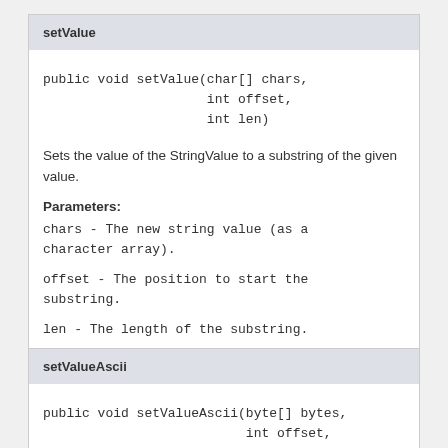setValue
public void setValue(char[] chars,
                     int offset,
                     int len)
Sets the value of the StringValue to a substring of the given value.
Parameters:
chars - The new string value (as a character array).
offset - The position to start the substring.
len - The length of the substring.
setValueAscii
public void setValueAscii(byte[] bytes,
                          int offset,